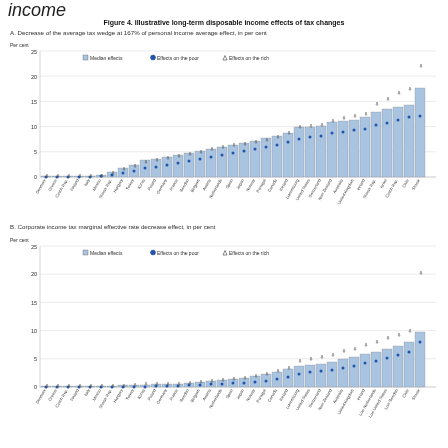income
Figure 4. Illustrative long-term disposable income effects of tax changes
[Figure (bar-chart): Bar chart with bars for median effects and dot/triangle markers for effects on poor and rich across many countries, values roughly 0-18%]
[Figure (bar-chart): Bar chart with bars for median effects and dot/triangle markers for effects on poor and rich across many countries, values roughly 0-8%]